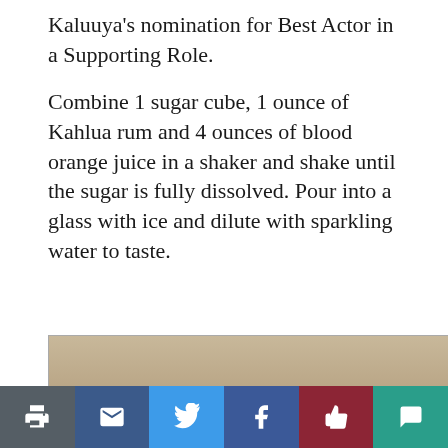Kaluuya's nomination for Best Actor in a Supporting Role.
Combine 1 sugar cube, 1 ounce of Kahlua rum and 4 ounces of blood orange juice in a shaker and shake until the sugar is fully dissolved. Pour into a glass with ice and dilute with sparkling water to taste.
[Figure (photo): Photo of a Blue Moon beer bottle on a light tan/beige background, partially cropped at the bottom of the page]
Social share buttons: Print, Email, Twitter, Facebook, Like, Comment